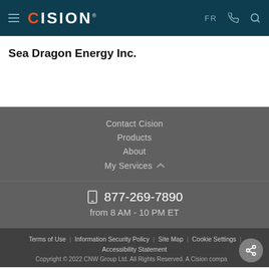CISION — FR | phone | search
Sea Dragon Energy Inc.
Contact Cision
Products
About
My Services
📞 877-269-7890
from 8 AM - 10 PM ET
Terms of Use | Information Security Policy | Site Map | Cookie Settings | Accessibility Statement
Copyright © 2022 CNW Group Ltd. All Rights Reserved. A Cision company